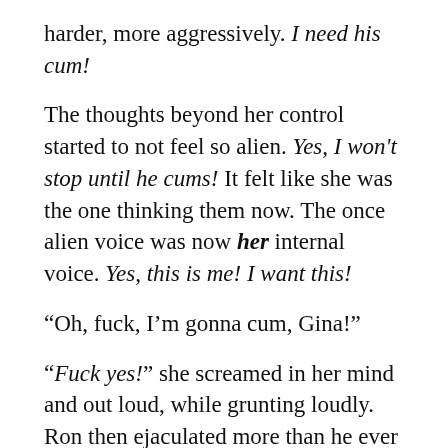harder, more aggressively. I need his cum!
The thoughts beyond her control started to not feel so alien. Yes, I won't stop until he cums! It felt like she was the one thinking them now. The once alien voice was now her internal voice. Yes, this is me! I want this!
“Oh, fuck, I’m gonna cum, Gina!”
“Fuck yes!” she screamed in her mind and out loud, while grunting loudly. Ron then ejaculated more than he ever did before. The very taste of the semen made her body feel invigorated in orgasmic ways she never thought possible. She thrust and such, and